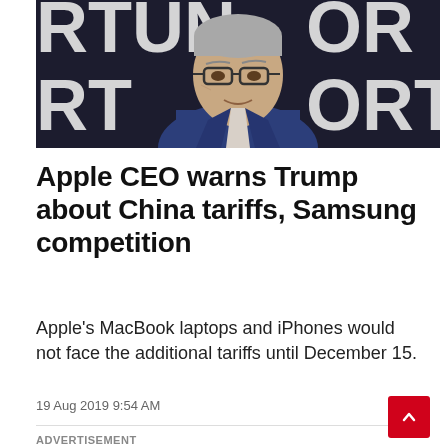[Figure (photo): Close-up photo of Apple CEO Tim Cook wearing glasses and a blue suit, speaking at a Fortune event with partial text visible in background]
Apple CEO warns Trump about China tariffs, Samsung competition
Apple's MacBook laptops and iPhones would not face the additional tariffs until December 15.
19 Aug 2019 9:54 AM
ADVERTISEMENT